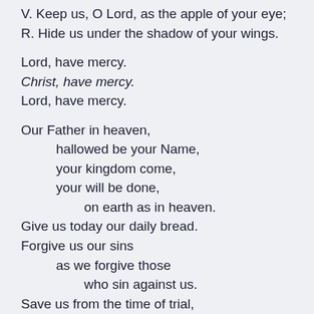V. Keep us, O Lord, as the apple of your eye;
R. Hide us under the shadow of your wings.
Lord, have mercy.
Christ, have mercy.
Lord, have mercy.
Our Father in heaven,
    hallowed be your Name,
    your kingdom come,
    your will be done,
        on earth as in heaven.
Give us today our daily bread.
Forgive us our sins
    as we forgive those
        who sin against us.
Save us from the time of trial,
    and deliver us from evil.